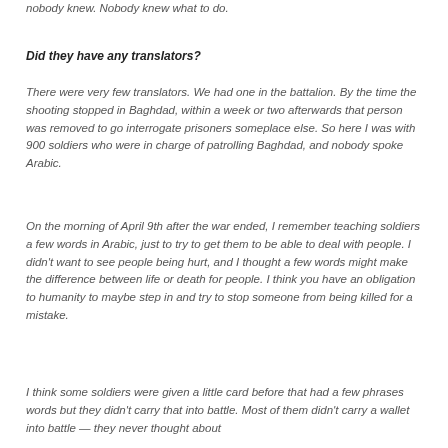nobody knew. Nobody knew what to do.
Did they have any translators?
There were very few translators. We had one in the battalion. By the time the shooting stopped in Baghdad, within a week or two afterwards that person was removed to go interrogate prisoners someplace else. So here I was with 900 soldiers who were in charge of patrolling Baghdad, and nobody spoke Arabic.
On the morning of April 9th after the war ended, I remember teaching soldiers a few words in Arabic, just to try to get them to be able to deal with people. I didn't want to see people being hurt, and I thought a few words might make the difference between life or death for people. I think you have an obligation to humanity to maybe step in and try to stop someone from being killed for a mistake.
I think some soldiers were given a little card before that had a few phrases words but they didn't carry that into battle. Most of them didn't carry a wallet into battle — they never thought about